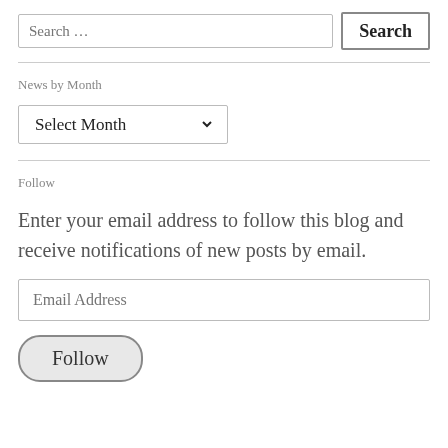Search …
News by Month
Select Month
Follow
Enter your email address to follow this blog and receive notifications of new posts by email.
Email Address
Follow